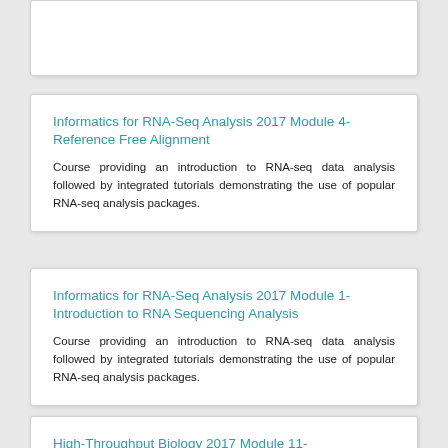Informatics for RNA-Seq Analysis 2017 Module 4-Reference Free Alignment
Course providing an introduction to RNA-seq data analysis followed by integrated tutorials demonstrating the use of popular RNA-seq analysis packages.
Informatics for RNA-Seq Analysis 2017 Module 1-Introduction to RNA Sequencing Analysis
Course providing an introduction to RNA-seq data analysis followed by integrated tutorials demonstrating the use of popular RNA-seq analysis packages.
High-Throughput Biology 2017 Module 11-